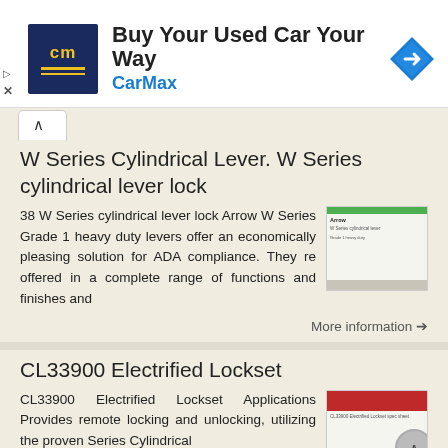[Figure (screenshot): CarMax advertisement banner with logo, headline 'Buy Your Used Car Your Way', and navigation arrow icon]
W Series Cylindrical Lever. W Series cylindrical lever lock
38 W Series cylindrical lever lock Arrow W Series Grade 1 heavy duty levers offer an economically pleasing solution for ADA compliance. They re offered in a complete range of functions and finishes and
More information →
CL33900 Electrified Lockset
CL33900 Electrified Lockset Applications Provides remote locking and unlocking, utilizing the proven Series Cylindrical